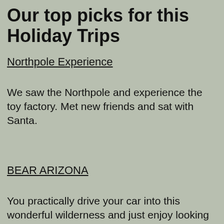Our top picks for this Holiday Trips
Northpole Experience
We saw the Northpole and experience the toy factory. Met new friends and sat with Santa.
BEAR ARIZONA
You practically drive your car into this wonderful wilderness and just enjoy looking at the Brown bears, reindeers, Longhorn mountain goats, majestic bison, and many other wild animals. Just follow their rules and stop whenever the animals get too close to your car. It is the best experience and will be etched in our memories. A lifetime